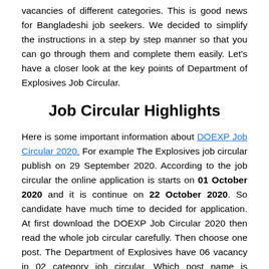vacancies of different categories. This is good news for Bangladeshi job seekers. We decided to simplify the instructions in a step by step manner so that you can go through them and complete them easily. Let's have a closer look at the key points of Department of Explosives Job Circular.
Job Circular Highlights
Here is some important information about DOEXP Job Circular 2020. For example The Explosives job circular publish on 29 September 2020. According to the job circular the online application is starts on 01 October 2020 and it is continue on 22 October 2020. So candidate have much time to decided for application. At first download the DOEXP Job Circular 2020 then read the whole job circular carefully. Then choose one post. The Department of Explosives have 06 vacancy in 02 category job circular. Which post name is Laboratory Assistant